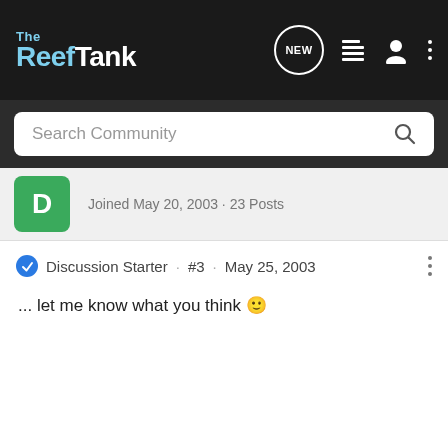The Reef Tank
Search Community
Joined May 20, 2003 · 23 Posts
Discussion Starter · #3 · May 25, 2003
... let me know what you think 🙂
MontanaRocknReefer · Registered
Joined Feb 17, 2001 · 5,816 Posts